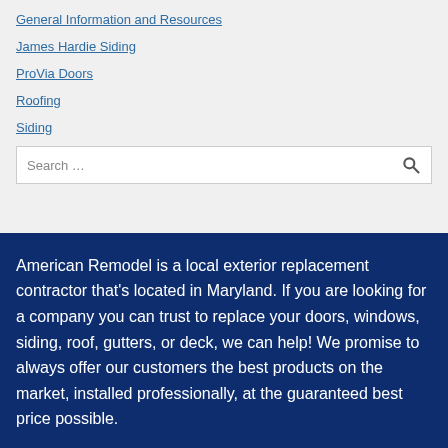General Information and Resources
James Hardie Siding
ProVia Doors
Roofing
Siding
Search ...
American Remodel is a local exterior replacement contractor that's located in Maryland. If you are looking for a company you can trust to replace your doors, windows, siding, roof, gutters, or deck, we can help! We promise to always offer our customers the best products on the market, installed professionally, at the guaranteed best price possible.